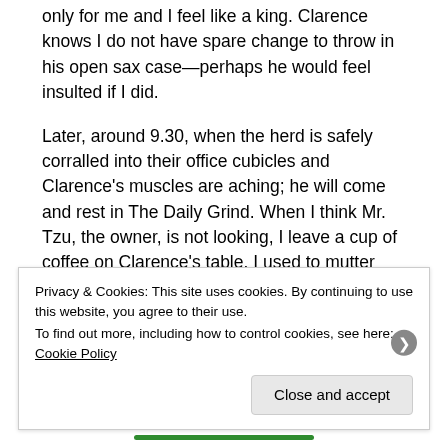only for me and I feel like a king. Clarence knows I do not have spare change to throw in his open sax case—perhaps he would feel insulted if I did.
Later, around 9.30, when the herd is safely corralled into their office cubicles and Clarence's muscles are aching; he will come and rest in The Daily Grind. When I think Mr. Tzu, the owner, is not looking, I leave a cup of coffee on Clarence's table. I used to mutter under my breath that some jerk had changed his order after I had already poured his cup and there is no point wasting it. After about the fortieth time, I figured Clarence had picked up on my ruse so I just place the steaming cup on his table without a word.
Privacy & Cookies: This site uses cookies. By continuing to use this website, you agree to their use.
To find out more, including how to control cookies, see here: Cookie Policy